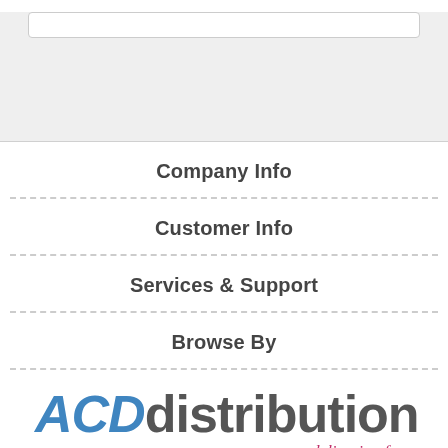[Figure (screenshot): Top gray bar area with white search/input box]
Company Info
Customer Info
Services & Support
Browse By
[Figure (logo): ACD distribution logo — 'ACD' in blue italic bold, 'distribution' in dark gray bold, tagline 'delivering fun' in pink italic cursive below]
[Figure (infographic): Three circular social media icons: Facebook (blue), Twitter (light blue), Blogger (orange)]